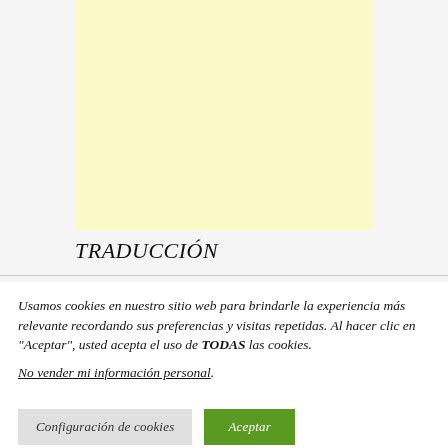[Figure (other): Yellow/cream colored rectangle, likely an advertisement or image placeholder]
TRADUCCIÓN
Usamos cookies en nuestro sitio web para brindarle la experiencia más relevante recordando sus preferencias y visitas repetidas. Al hacer clic en "Aceptar", usted acepta el uso de TODAS las cookies.
No vender mi información personal.
Configuración de cookies
Aceptar